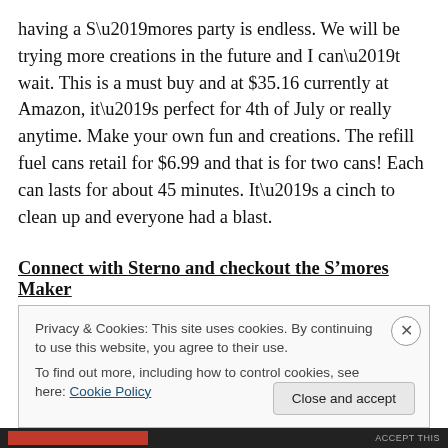having a S’mores party is endless.  We will be trying more creations in the future and I can’t wait.  This is a must buy and at $35.16 currently at Amazon, it’s perfect for 4th of July or really anytime.  Make your own fun and creations.  The refill fuel cans retail for $6.99 and that is for two cans!  Each can lasts for about 45 minutes.  It’s a cinch to clean up and everyone had a blast.
Connect with Sterno and checkout the S’mores Maker
Privacy & Cookies: This site uses cookies. By continuing to use this website, you agree to their use.
To find out more, including how to control cookies, see here: Cookie Policy